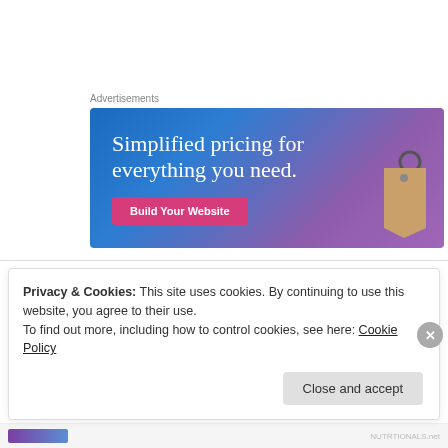Advertisements
[Figure (illustration): Advertisement banner with gradient blue-purple background, text 'Simplified pricing for everything you need.' with a pink 'Build Your Website' button and a price tag illustration.]
Crystal on February 6, 2012 at 3:45 pm
Privacy & Cookies: This site uses cookies. By continuing to use this website, you agree to their use.
To find out more, including how to control cookies, see here: Cookie Policy
Close and accept